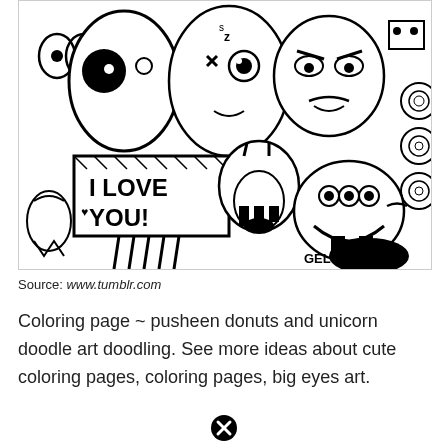[Figure (illustration): Black and white doodle art illustration featuring various cartoon monster/creature characters with big eyes and expressions. One character holds a sign reading 'I LOVE YOU!'. Signed 'GELYN '12' in the bottom right corner.]
Source: www.tumblr.com
Coloring page ~ pusheen donuts and unicorn doodle art doodling. See more ideas about cute coloring pages, coloring pages, big eyes art.
[Figure (other): A close/dismiss button icon (circle with X) at the bottom center of the page.]